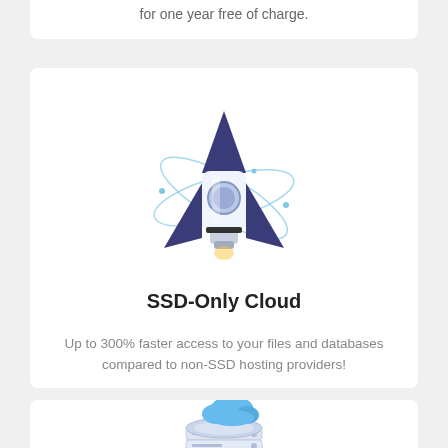for one year free of charge.
[Figure (illustration): Rocket ship illustration with orbital rings, styled in dark blue/purple and white, with a circular porthole window]
SSD-Only Cloud
Up to 300% faster access to your files and databases compared to non-SSD hosting providers!
[Figure (illustration): Cloud and server stack illustration in light blue and grey isometric style]